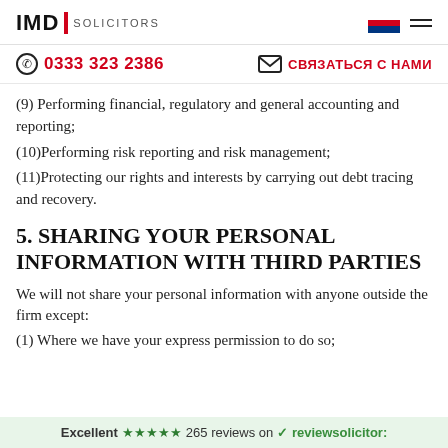IMD SOLICITORS
0333 323 2386   СВЯЗАТЬСЯ С НАМИ
(9) Performing financial, regulatory and general accounting and reporting;
(10)Performing risk reporting and risk management;
(11)Protecting our rights and interests by carrying out debt tracing and recovery.
5. SHARING YOUR PERSONAL INFORMATION WITH THIRD PARTIES
We will not share your personal information with anyone outside the firm except:
(1) Where we have your express permission to do so;
Excellent ★★★★★ 265 reviews on ✓reviewsolicitor: